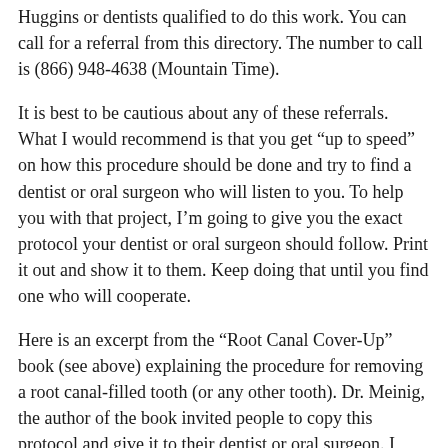Huggins or dentists qualified to do this work. You can call for a referral from this directory. The number to call is (866) 948-4638 (Mountain Time).
It is best to be cautious about any of these referrals. What I would recommend is that you get “up to speed” on how this procedure should be done and try to find a dentist or oral surgeon who will listen to you. To help you with that project, I’m going to give you the exact protocol your dentist or oral surgeon should follow. Print it out and show it to them. Keep doing that until you find one who will cooperate.
Here is an excerpt from the “Root Canal Cover-Up” book (see above) explaining the procedure for removing a root canal-filled tooth (or any other tooth). Dr. Meinig, the author of the book invited people to copy this protocol and give it to their dentist or oral surgeon. I second his urging. You must take charge of this project.